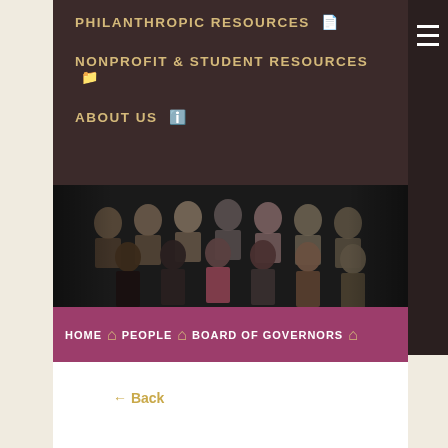PHILANTHROPIC RESOURCES
NONPROFIT & STUDENT RESOURCES
ABOUT US
DONOR LOGIN | DONATE NOW
[Figure (logo): Orange County Community Foundation logo with heart icon]
[Figure (photo): Group photo of people, Board of Governors]
HOME  PEOPLE  BOARD OF GOVERNORS
Back